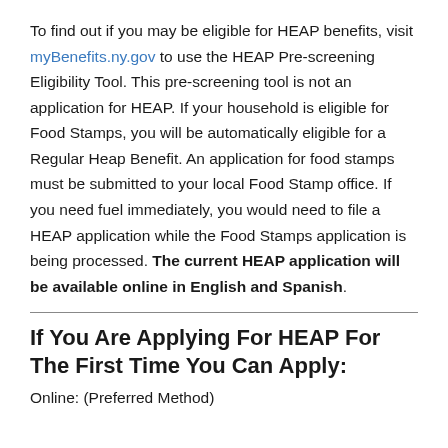To find out if you may be eligible for HEAP benefits, visit myBenefits.ny.gov to use the HEAP Pre-screening Eligibility Tool. This pre-screening tool is not an application for HEAP. If your household is eligible for Food Stamps, you will be automatically eligible for a Regular Heap Benefit. An application for food stamps must be submitted to your local Food Stamp office. If you need fuel immediately, you would need to file a HEAP application while the Food Stamps application is being processed. The current HEAP application will be available online in English and Spanish.
If You Are Applying For HEAP For The First Time You Can Apply:
Online: (Preferred Method)